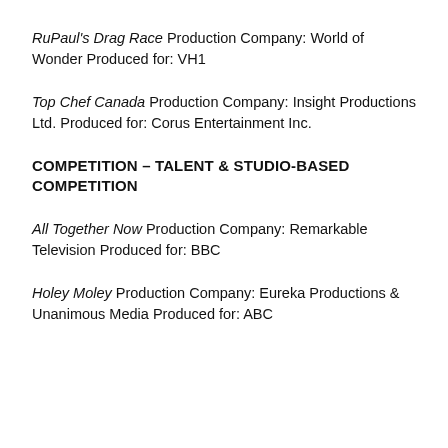RuPaul's Drag Race Production Company: World of Wonder Produced for: VH1
Top Chef Canada Production Company: Insight Productions Ltd. Produced for: Corus Entertainment Inc.
COMPETITION – TALENT & STUDIO-BASED COMPETITION
All Together Now Production Company: Remarkable Television Produced for: BBC
Holey Moley Production Company: Eureka Productions & Unanimous Media Produced for: ABC